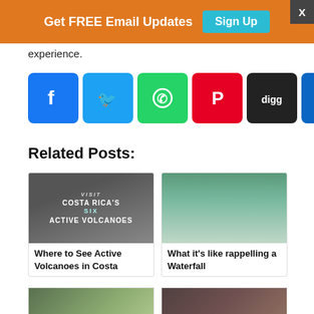Get FREE Email Updates  Sign Up
experience.
[Figure (infographic): Social sharing icons row: Facebook, Twitter, WhatsApp, Pinterest, Digg, LinkedIn, Reddit, Print, Share]
Related Posts:
[Figure (photo): Costa Rica active volcanoes article thumbnail with text overlay: VISIT COSTA RICA'S SIX ACTIVE VOLCANOES]
Where to See Active Volcanoes in Costa
[Figure (photo): Photo of people rappelling a waterfall]
What it's like rappelling a Waterfall
[Figure (photo): Bottom row left thumbnail - outdoor scene]
[Figure (photo): Bottom row right thumbnail - outdoor scene]